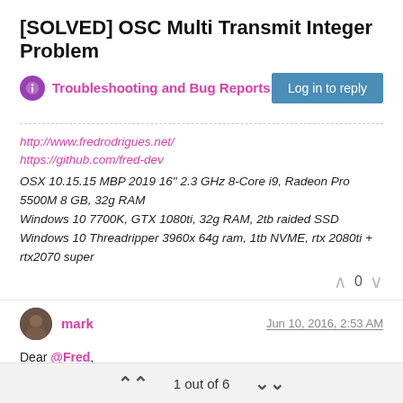[SOLVED] OSC Multi Transmit Integer Problem
Troubleshooting and Bug Reports
Log in to reply
http://www.fredrodrigues.net/
https://github.com/fred-dev
OSX 10.15.15 MBP 2019 16" 2.3 GHz 8-Core i9, Radeon Pro 5500M 8 GB, 32g RAM
Windows 10 7700K, GTX 1080ti, 32g RAM, 2tb raided SSD
Windows 10 Threadripper 3960x 64g ram, 1tb NVME, rtx 2080ti + rtx2070 super
^ 0 v
mark  Jun 10, 2016, 2:53 AM
Dear @Fred,

I just created the same example message in Processing 2.2 and everything works as expected with integer messages. I would
1 out of 6